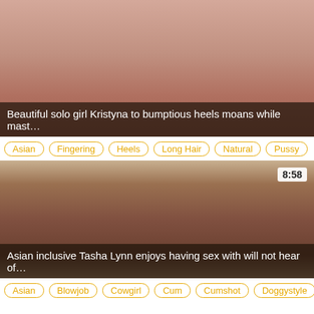[Figure (photo): Thumbnail of solo girl video, close-up skin tones, pink background]
Beautiful solo girl Kristyna to bumptious heels moans while mast…
Asian  Fingering  Heels  Long Hair  Natural  Pussy
[Figure (photo): Thumbnail of Asian woman having sex in bedroom setting, duration badge 8:58]
Asian inclusive Tasha Lynn enjoys having sex with will not hear of…
Asian  Blowjob  Cowgirl  Cum  Cumshot  Doggystyle